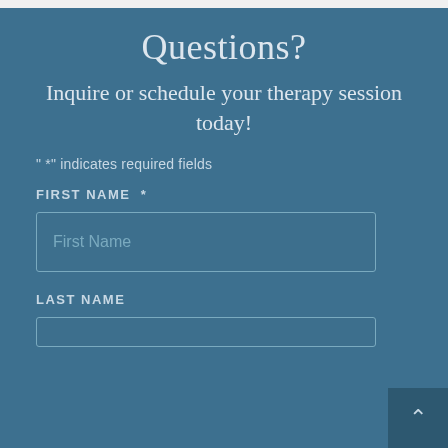Questions?
Inquire or schedule your therapy session today!
" *" indicates required fields
FIRST NAME  *
First Name
LAST NAME